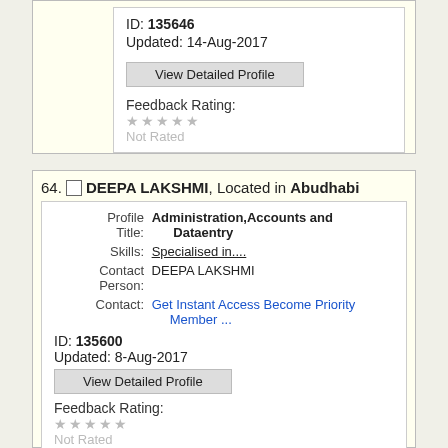ID: 135646
Updated: 14-Aug-2017
View Detailed Profile
Feedback Rating:
★★★★★ Not Rated
64. DEEPA LAKSHMI, Located in Abudhabi
Profile Title: Administration,Accounts and Dataentry
Skills: Specialised in....
Contact Person: DEEPA LAKSHMI
Contact: Get Instant Access Become Priority Member ...
ID: 135600
Updated: 8-Aug-2017
View Detailed Profile
Feedback Rating:
★★★★★ Not Rated